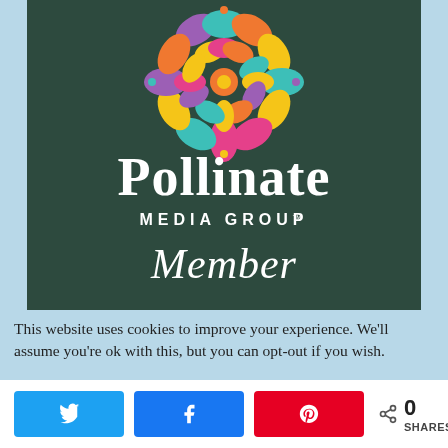[Figure (logo): Pollinate Media Group Member logo on dark green background with colorful mandala-style flower graphic above the text]
This website uses cookies to improve your experience. We'll assume you're ok with this, but you can opt-out if you wish.
0 SHARES — Twitter, Facebook, Pinterest share buttons